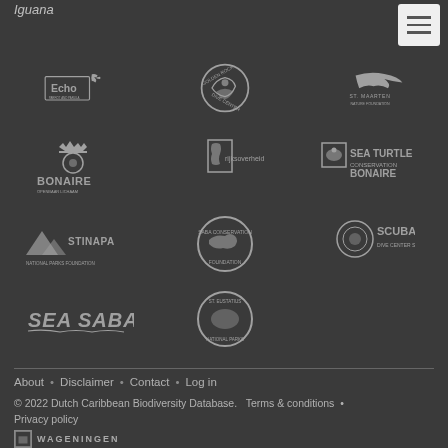Iguana
[Figure (logo): Navigation menu hamburger button (three horizontal lines) on light background]
[Figure (logo): Echo - Parrot and Parula logo with bird silhouette]
[Figure (logo): Golden Rock Dive Center circular logo]
[Figure (logo): St. Maarten Nature Foundation logo with frigatebird]
[Figure (logo): Openbaar Lichaam Bonaire logo with crest]
[Figure (logo): Rijksoverheid logo]
[Figure (logo): Sea Turtle Conservation Bonaire logo]
[Figure (logo): STINAPA National Parks Foundation logo]
[Figure (logo): Saba Conservation Foundation circular logo]
[Figure (logo): Scubaqua logo with circular emblem]
[Figure (logo): Sea Saba logo in slanted text style]
[Figure (logo): St. Eustatius National Parks circular logo]
About • Disclaimer • Contact • Log in
© 2022 Dutch Caribbean Biodiversity Database. Terms & conditions • Privacy policy
[Figure (logo): Wageningen University logo with square icon and WAGENINGEN text]